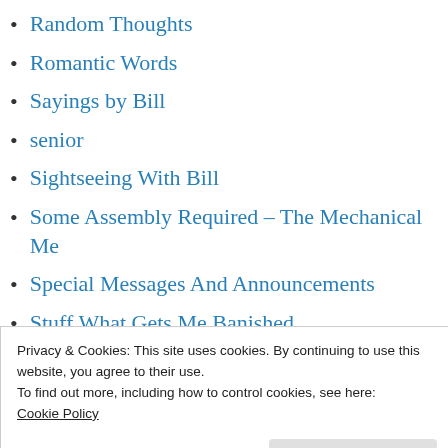Random Thoughts
Romantic Words
Sayings by Bill
senior
Sightseeing With Bill
Some Assembly Required – The Mechanical Me
Special Messages And Announcements
Stuff What Gets Me Banished
The "Raise Your Right Hand And Repeat After Me." Me
Privacy & Cookies: This site uses cookies. By continuing to use this website, you agree to their use.
To find out more, including how to control cookies, see here:
Cookie Policy
The Culinary Somebody Else